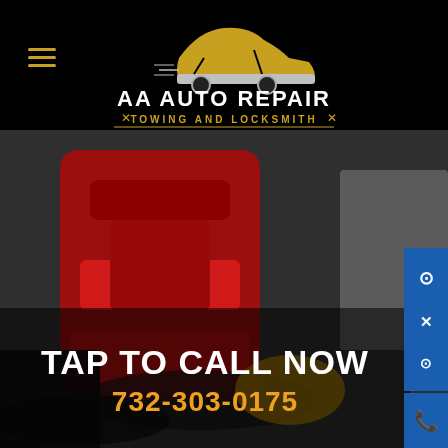[Figure (logo): AA Auto Repair Towing and Locksmith logo with car silhouette on black background]
[Figure (photo): Close-up photo of a red brake caliper on a vehicle, with a mechanic's hands visible]
TAP TO CALL NOW
732-303-0175